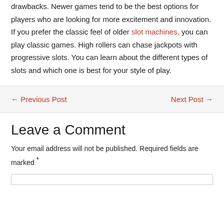drawbacks. Newer games tend to be the best options for players who are looking for more excitement and innovation. If you prefer the classic feel of older slot machines, you can play classic games. High rollers can chase jackpots with progressive slots. You can learn about the different types of slots and which one is best for your style of play.
← Previous Post    Next Post →
Leave a Comment
Your email address will not be published. Required fields are marked *